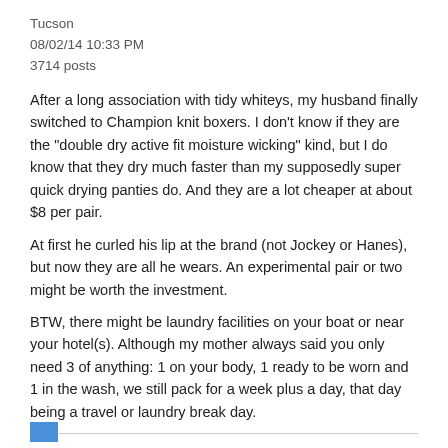Tucson
08/02/14 10:33 PM
3714 posts
After a long association with tidy whiteys, my husband finally switched to Champion knit boxers. I don't know if they are the "double dry active fit moisture wicking" kind, but I do know that they dry much faster than my supposedly super quick drying panties do. And they are a lot cheaper at about $8 per pair.
At first he curled his lip at the brand (not Jockey or Hanes), but now they are all he wears. An experimental pair or two might be worth the investment.
BTW, there might be laundry facilities on your boat or near your hotel(s). Although my mother always said you only need 3 of anything: 1 on your body, 1 ready to be worn and 1 in the wash, we still pack for a week plus a day, that day being a travel or laundry break day.